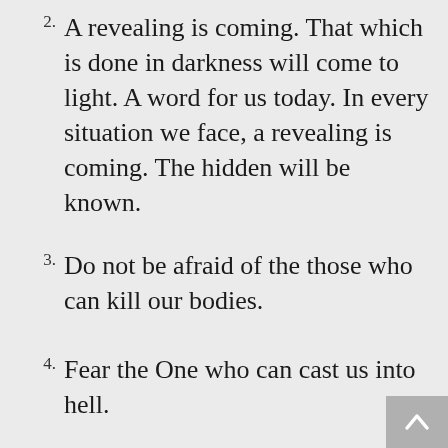2. A revealing is coming. That which is done in darkness will come to light. A word for us today. In every situation we face, a revealing is coming. The hidden will be known.
3. Do not be afraid of the those who can kill our bodies.
4. Fear the One who can cast us into hell.